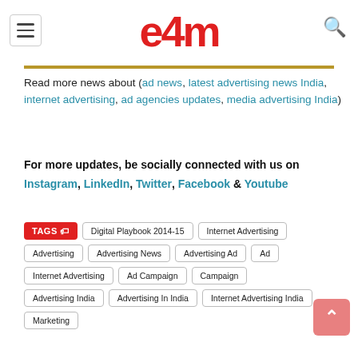e4m
Read more news about (ad news, latest advertising news India, internet advertising, ad agencies updates, media advertising India)
For more updates, be socially connected with us on Instagram, LinkedIn, Twitter, Facebook & Youtube
TAGS: Digital Playbook 2014-15, Internet Advertising, Advertising, Advertising News, Advertising Ad, Ad, Internet Advertising, Ad Campaign, Campaign, Advertising India, Advertising In India, Internet Advertising India, Marketing